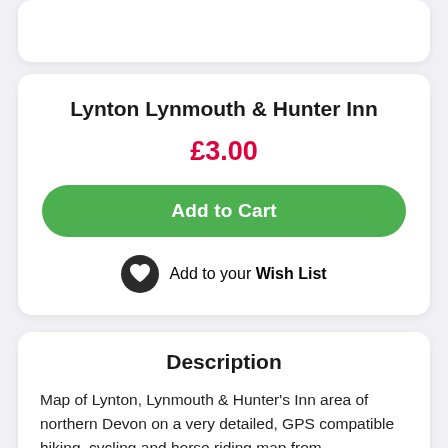Lynton Lynmouth & Hunter Inn
£3.00
Add to Cart
Add to your Wish List
Description
Map of Lynton, Lynmouth & Hunter's Inn area of northern Devon on a very detailed, GPS compatible hiking, cycling and horse riding map from Croydecycle at 1:12,500, printed on light, waterproof and tear-resistant synthetic